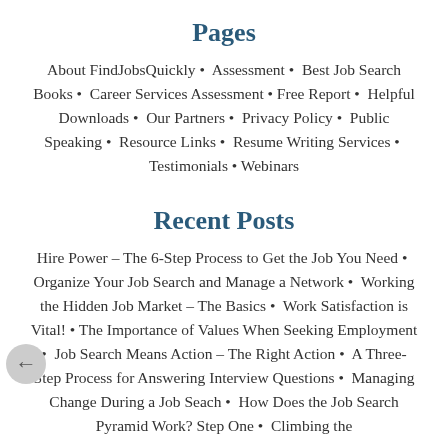Pages
About FindJobsQuickly • Assessment • Best Job Search Books • Career Services Assessment • Free Report • Helpful Downloads • Our Partners • Privacy Policy • Public Speaking • Resource Links • Resume Writing Services • Testimonials • Webinars
Recent Posts
Hire Power – The 6-Step Process to Get the Job You Need • Organize Your Job Search and Manage a Network • Working the Hidden Job Market – The Basics • Work Satisfaction is Vital! • The Importance of Values When Seeking Employment • Job Search Means Action – The Right Action • A Three-Step Process for Answering Interview Questions • Managing Change During a Job Seach • How Does the Job Search Pyramid Work? Step One • Climbing the